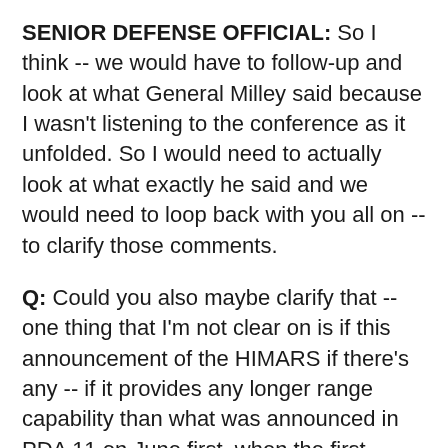SENIOR DEFENSE OFFICIAL: So I think -- we would have to follow-up and look at what General Milley said because I wasn't listening to the conference as it unfolded. So I would need to actually look at what exactly he said and we would need to loop back with you all on -- to clarify those comments.
Q: Could you also maybe clarify that -- one thing that I'm not clear on is if this announcement of the HIMARS if there's any -- if it provides any longer range capability than what was announced in PDA 11 on June first, when the first HIMARS were announced?